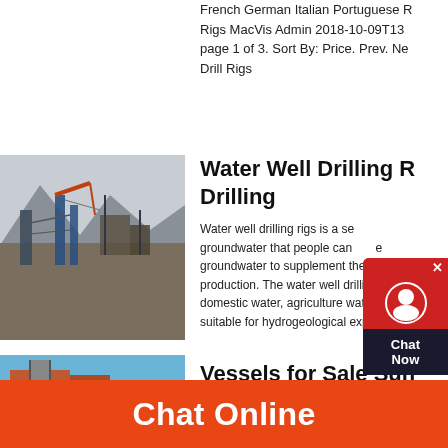French German Italian Portuguese Rigs MacVis Admin 2018-10-09T13 page 1 of 3. Sort By: Price. Prev. Ne Drill Rigs
[Figure (photo): Industrial drilling or mining equipment on a hillside with scaffolding and machinery]
Water Well Drilling Rigs Drilling
Water well drilling rigs is a se groundwater that people can groundwater to supplement the wat production. The water well drilling m domestic water, agriculture water, a suitable for hydrogeological explora
[Figure (photo): Industrial vessel or heavy equipment with orange and red coloring]
Vessels for Sale Sun Ma
Chat Online